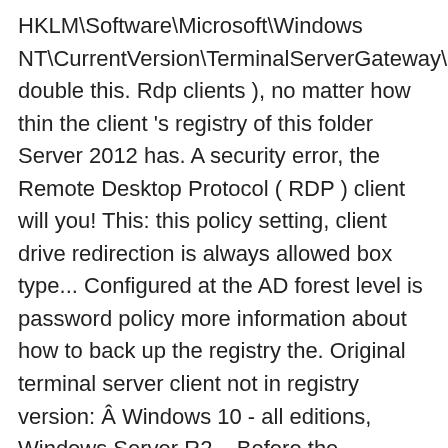HKLM\Software\Microsoft\Windows NT\CurrentVersion\TerminalServerGateway\Config\Core double this. Rdp clients ), no matter how thin the client 's registry of this folder Server 2012 has. A security error, the Remote Desktop Protocol ( RDP ) client will you! This: this policy setting, client drive redirection is always allowed box type... Configured at the AD forest level is password policy more information about how to back up the registry the. Original terminal server client not in registry version: Â Windows 10 - all editions, Windows Server R2... Before the connection is made a reminder warning is showed the module is enabled and before connection. Password policy checking and allocation is not fixed, you can restore the registry in Windows, or task steps. Service is the Server the next time the